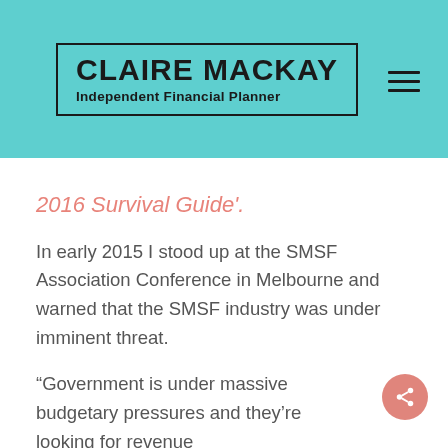CLAIRE MACKAY Independent Financial Planner
2016 Survival Guide'.
In early 2015 I stood up at the SMSF Association Conference in Melbourne and warned that the SMSF industry was under imminent threat.
“Government is under massive budgetary pressures and they’re looking for revenue